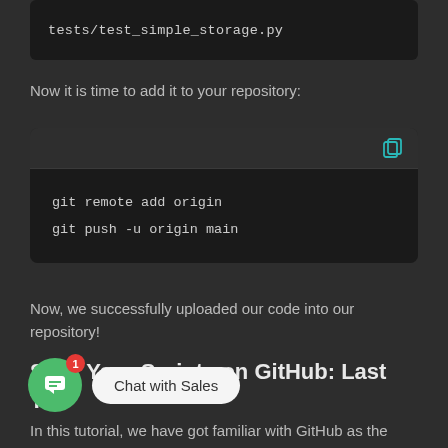[Figure (screenshot): Code block showing: tests/test_simple_storage.py]
Now it is time to add it to your repository:
[Figure (screenshot): Code block with copy icon showing:
git remote add origin
git push -u origin main]
Now, we successfully uploaded our code into our repository!
Share Your Scripts on GitHub: Last Thoughts
In this tutorial, we have got familiar with GitHub as the
[Figure (other): Chat with Sales widget with green chat button showing badge '1' and tooltip bubble saying 'Chat with Sales']